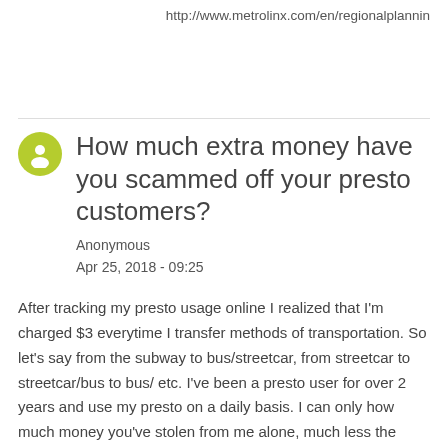http://www.metrolinx.com/en/regionalplannin
How much extra money have you scammed off your presto customers?
Anonymous
Apr 25, 2018 - 09:25
After tracking my presto usage online I realized that I'm charged $3 everytime I transfer methods of transportation. So let's say from the subway to bus/streetcar, from streetcar to streetcar/bus to bus/ etc. I've been a presto user for over 2 years and use my presto on a daily basis. I can only how much money you've stolen from me alone, much less the